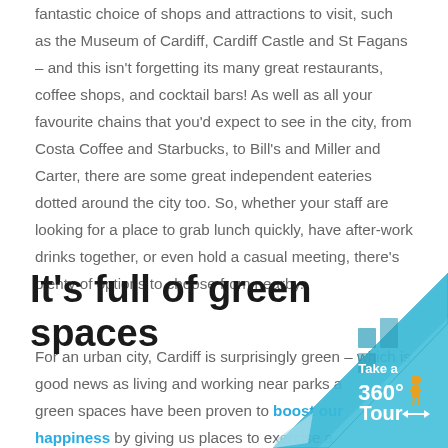fantastic choice of shops and attractions to visit, such as the Museum of Cardiff, Cardiff Castle and St Fagans – and this isn't forgetting its many great restaurants, coffee shops, and cocktail bars! As well as all your favourite chains that you'd expect to see in the city, from Costa Coffee and Starbucks, to Bill's and Miller and Carter, there are some great independent eateries dotted around the city too. So, whether your staff are looking for a place to grab lunch quickly, have after-work drinks together, or even hold a casual meeting, there's plenty of options to choose from nearby.
It's full of green spaces
For an urban city, Cardiff is surprisingly green – which is good news as living and working near parks and green spaces have been proven to boost our happiness by giving us places to exercise and breathe in the fresh air. Not only that, but plants al...
[Figure (other): Page-turn corner graphic with '360° Tour' text and a person icon, cyan/blue building background]